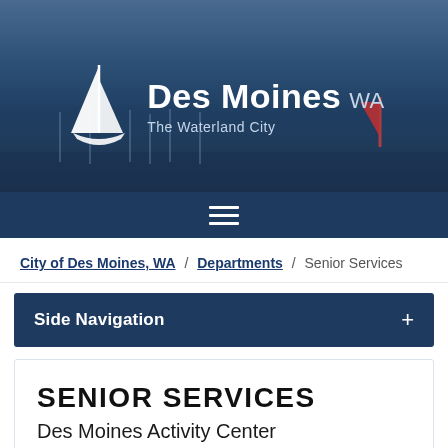[Figure (illustration): City of Des Moines WA website header with sailboat logo and harbor background image showing boats on water. White text reads 'Des Moines WA' and 'The Waterland City'.]
Side Navigation +
City of Des Moines, WA / Departments / Senior Services
Side Navigation
SENIOR SERVICES
Des Moines Activity Center